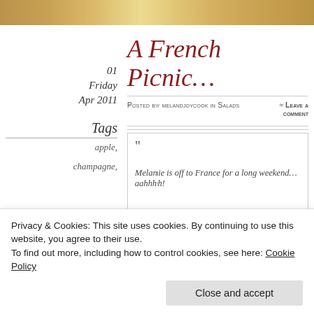[Figure (photo): Top banner image of food — appears to be a pasta or salad dish with red berries/tomatoes, golden/cream tones]
01
Friday
Apr 2011
A French Picnic…
Posted by melandjoycook in Salads
≈ Leave a comment
"
Tags
apple,
Melanie is off to France for a long weekend…aahhhh!
champagne,
walnut
Privacy & Cookies: This site uses cookies. By continuing to use this website, you agree to their use.
To find out more, including how to control cookies, see here: Cookie Policy
Close and accept